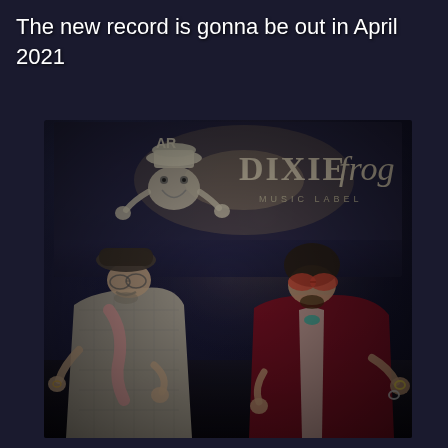The new record is gonna be out in April 2021
[Figure (photo): Two musicians posing in front of a Dixie Frog Music Label backdrop. Left person wears a flat cap, check suit, and pink scarf. Right person wears red sunglasses and a dark red/maroon blazer. Both are making hand gestures. The backdrop shows a cartoon frog logo and 'DIXIE frog MUSIC LABEL' text.]